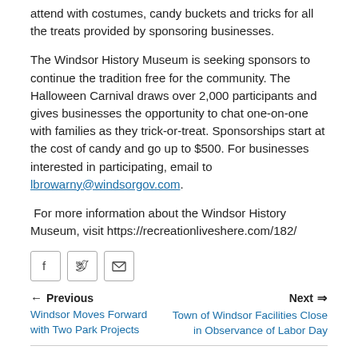attend with costumes, candy buckets and tricks for all the treats provided by sponsoring businesses.
The Windsor History Museum is seeking sponsors to continue the tradition free for the community. The Halloween Carnival draws over 2,000 participants and gives businesses the opportunity to chat one-on-one with families as they trick-or-treat. Sponsorships start at the cost of candy and go up to $500. For businesses interested in participating, email to lbrowarny@windsorgov.com.
For more information about the Windsor History Museum, visit https://recreationliveshere.com/182/
[Figure (other): Social sharing icons: Facebook, Twitter, Email]
← Previous Windsor Moves Forward with Two Park Projects
Next ⇒ Town of Windsor Facilities Close in Observance of Labor Day